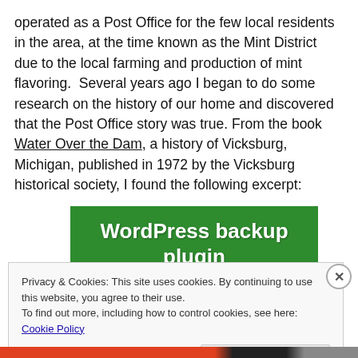operated as a Post Office for the few local residents in the area, at the time known as the Mint District due to the local farming and production of mint flavoring.  Several years ago I began to do some research on the history of our home and discovered that the Post Office story was true. From the book Water Over the Dam, a history of Vicksburg, Michigan, published in 1972 by the Vicksburg historical society, I found the following excerpt:
[Figure (screenshot): Green banner advertisement for WordPress backup plugin]
Privacy & Cookies: This site uses cookies. By continuing to use this website, you agree to their use.
To find out more, including how to control cookies, see here: Cookie Policy